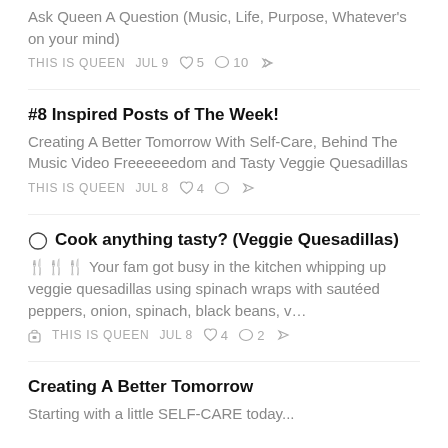Ask Queen A Question (Music, Life, Purpose, Whatever's on your mind)
THIS IS QUEEN   JUL 9   ♡ 5   ○ 10   ↗
#8 Inspired Posts of The Week!
Creating A Better Tomorrow With Self-Care, Behind The Music Video Freeeeeedom and Tasty Veggie Quesadillas
THIS IS QUEEN   JUL 8   ♡ 4   ○   ↗
Cook anything tasty? (Veggie Quesadillas)
🍴🍴🍴 Your fam got busy in the kitchen whipping up veggie quesadillas using spinach wraps with sautéed peppers, onion, spinach, black beans, v…
🔒 THIS IS QUEEN   JUL 8   ♡ 4   ○ 2   ↗
Creating A Better Tomorrow
Starting with a little SELF-CARE today...